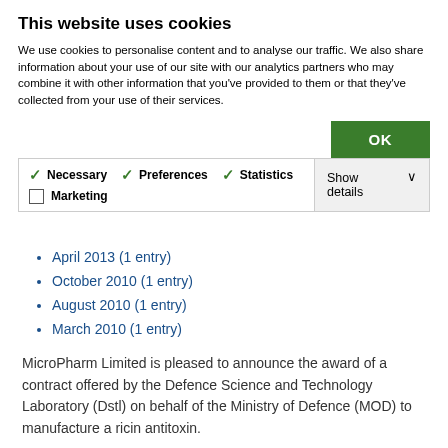This website uses cookies
We use cookies to personalise content and to analyse our traffic. We also share information about your use of our site with our analytics partners who may combine it with other information that you've provided to them or that they've collected from your use of their services.
OK button, Necessary (checked), Preferences (checked), Statistics (checked), Marketing (unchecked), Show details
April 2013 (1 entry)
October 2010 (1 entry)
August 2010 (1 entry)
March 2010 (1 entry)
MicroPharm Limited is pleased to announce the award of a contract offered by the Defence Science and Technology Laboratory (Dstl) on behalf of the Ministry of Defence (MOD) to manufacture a ricin antitoxin.
The contract is valued at up to £7 million for the production